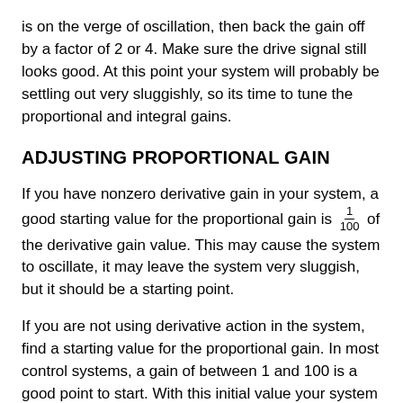is on the verge of oscillation, then back the gain off by a factor of 2 or 4. Make sure the drive signal still looks good. At this point your system will probably be settling out very sluggishly, so its time to tune the proportional and integral gains.
ADJUSTING PROPORTIONAL GAIN
If you have nonzero derivative gain in your system, a good starting value for the proportional gain is 1/100 of the derivative gain value. This may cause the system to oscillate, it may leave the system very sluggish, but it should be a starting point.
If you are not using derivative action in the system, find a starting value for the proportional gain. In most control systems, a gain of between 1 and 100 is a good point to start. With this initial value your system will probably either show terribly slow performance or it will oscillate.